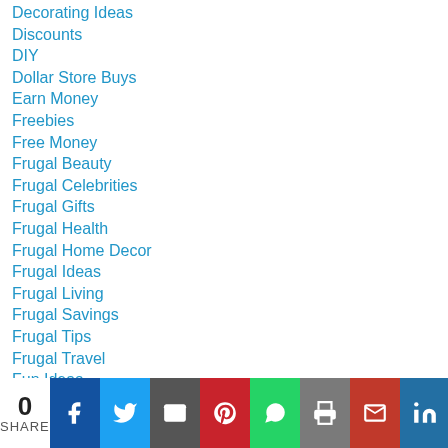Decorating Ideas
Discounts
DIY
Dollar Store Buys
Earn Money
Freebies
Free Money
Frugal Beauty
Frugal Celebrities
Frugal Gifts
Frugal Health
Frugal Home Decor
Frugal Ideas
Frugal Living
Frugal Savings
Frugal Tips
Frugal Travel
Fun Ideas
Garage Sale
[Figure (infographic): Social sharing bar with share count (0 SHARE) and buttons: Facebook, Twitter, Email, Pinterest, WhatsApp, Print, Gmail, LinkedIn, Google, More]